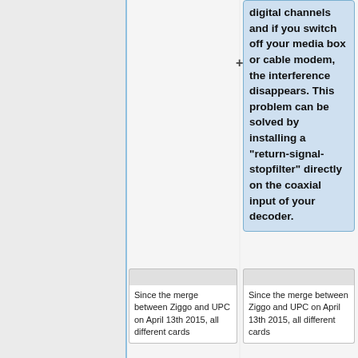digital channels and if you switch off your media box or cable modem, the interference disappears. This problem can be solved by installing a "return-signal-stopfilter" directly on the coaxial input of your decoder.
Since the merge between Ziggo and UPC on April 13th 2015, all different cards
Since the merge between Ziggo and UPC on April 13th 2015, all different cards